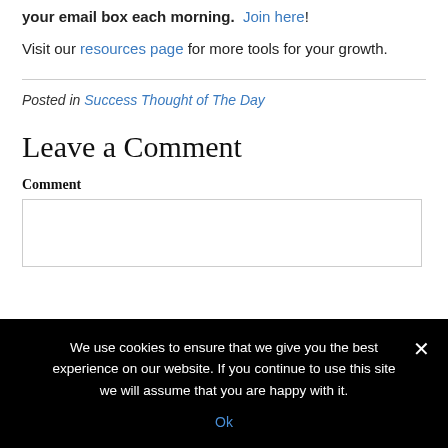your email box each morning. Join here!
Visit our resources page for more tools for your growth.
Posted in Success Thought of The Day
Leave a Comment
Comment
We use cookies to ensure that we give you the best experience on our website. If you continue to use this site we will assume that you are happy with it.
Ok